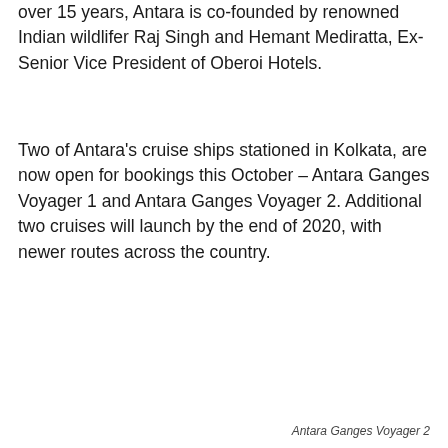over 15 years, Antara is co-founded by renowned Indian wildlifer Raj Singh and Hemant Mediratta, Ex-Senior Vice President of Oberoi Hotels.
Two of Antara's cruise ships stationed in Kolkata, are now open for bookings this October – Antara Ganges Voyager 1 and Antara Ganges Voyager 2. Additional two cruises will launch by the end of 2020, with newer routes across the country.
Antara Ganges Voyager 2